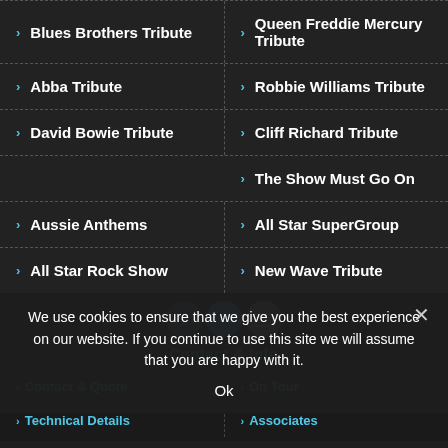Blues Brothers Tribute
Queen Freddie Mercury Tribute
Abba Tribute
Robbie Williams Tribute
David Bowie Tribute
Cliff Richard Tribute
The Show Must Go On
Aussie Anthems
All Star SuperGroup
All Star Rock Show
New Wave Tribute
[Figure (other): Social media icons: Facebook (blue circle), Twitter (teal circle), Email (grey circle)]
Contact & Info
Contact & Quote
On Tour
Technical Details
Associates
We use cookies to ensure that we give you the best experience on our website. If you continue to use this site we will assume that you are happy with it.
Ok